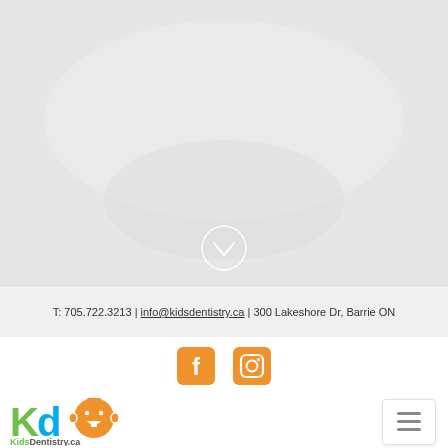[Figure (photo): Light grey hero image background with a faint circular scroll-down chevron button near the bottom center]
T: 705.722.3213 | info@kidsdentistry.ca | 300 Lakeshore Dr, Barrie ON
[Figure (illustration): Facebook and Instagram social media icons in orange color]
[Figure (logo): KidsDentistry.ca logo with green K, blue d, and orange cartoon baby face with tooth]
[Figure (illustration): Hamburger menu button with three horizontal lines]